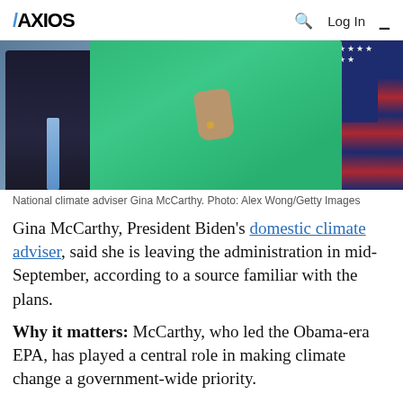AXIOS  🔍  Log In  ☰
[Figure (photo): National climate adviser Gina McCarthy speaking at a podium, wearing a green jacket, with a man in a dark suit with a blue tie to her left, and an American flag in the background on the right.]
National climate adviser Gina McCarthy. Photo: Alex Wong/Getty Images
Gina McCarthy, President Biden's domestic climate adviser, said she is leaving the administration in mid-September, according to a source familiar with the plans.
Why it matters: McCarthy, who led the Obama-era EPA, has played a central role in making climate change a government-wide priority.